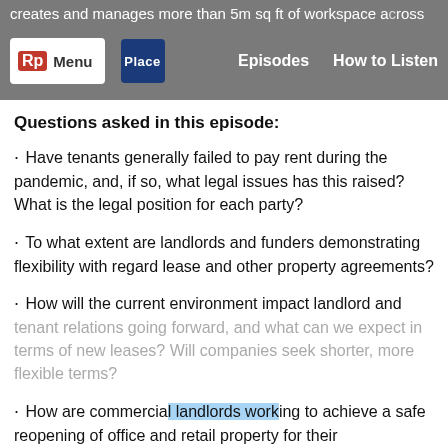creates and manages more than 5m sq ft of workspace across the UK.
Questions asked in this episode:
Have tenants generally failed to pay rent during the pandemic, and, if so, what legal issues has this raised? What is the legal position for each party?
To what extent are landlords and funders demonstrating flexibility with regard lease and other property agreements?
How will the current environment impact landlord and tenant relations going forward, and what can we expect in terms of new leases? Will companies seek shorter, more flexible terms?
How are commercial landlords working to achieve a safe reopening of office and retail property for their